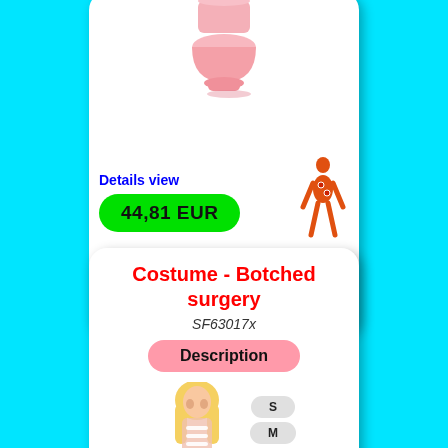[Figure (illustration): Pink toilet illustration, cartoon style, shown from front angle]
Details view
44,81 EUR
On stock 0 pcs
availability
[Figure (illustration): Orange female body silhouette with injury markers]
[Figure (illustration): Shopping cart button icon with arrow]
Costume - Botched surgery
SF63017x
Description
[Figure (illustration): Blonde female costume model wearing botched surgery costume]
S
M
L